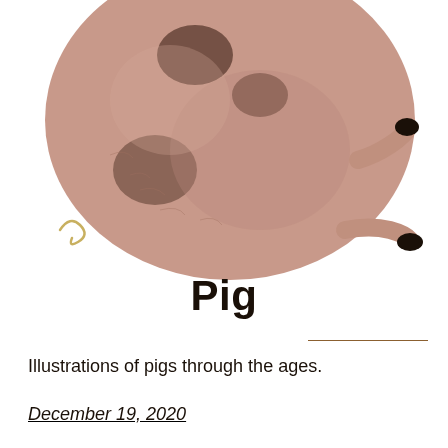[Figure (illustration): Bottom half of a pig illustration showing the round pink body with dark spots, a curly tail on the left, and two hind legs with black hooves visible on the right side. The image is cropped at the top.]
Pig
Illustrations of pigs through the ages.
December 19, 2020